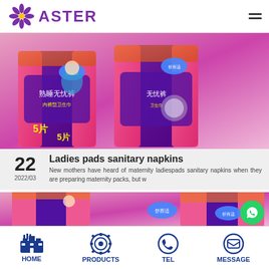[Figure (logo): Aster brand logo with purple flower/asterisk icon and purple ASTER text]
[Figure (photo): Ladies pads sanitary napkins product packages - purple and pink packaging with Chinese text 舒而适 熟睡无忧裤, showing 5 piece count]
22
2022/03
Ladies pads sanitary napkins
New mothers have heard of maternity ladiespads sanitary napkins when they are preparing maternity packs, but w
[Figure (photo): Ladies pads sanitary napkins product packages - second instance, purple and pink packaging with Chinese text]
[Figure (logo): WhatsApp green circle button]
HOME   PRODUCTS   TEL   MESSAGE